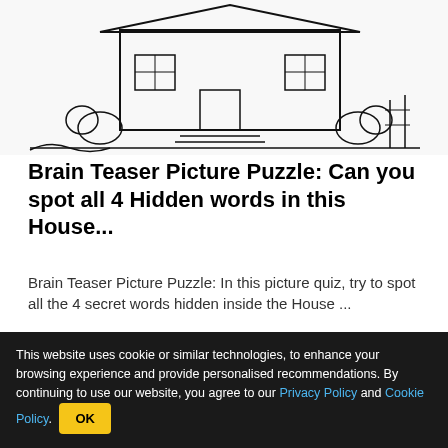[Figure (illustration): Black and white sketch/illustration of a house with steps, windows, door, and surrounding trees/bushes]
Brain Teaser Picture Puzzle: Can you spot all 4 Hidden words in this House...
Brain Teaser Picture Puzzle: In this picture quiz, try to spot all the 4 secret words hidden inside the House ...
Jagran Josh
[Figure (illustration): Partial image of red lightning bolt and hand illustration with dark reddish-orange background]
[Figure (photo): Advertisement: Homeowners Are Trading in Their Doorbell Cams for This. AD Keilini.com with a photo of a smart home device]
This website uses cookie or similar technologies, to enhance your browsing experience and provide personalised recommendations. By continuing to use our website, you agree to our Privacy Policy and Cookie Policy.